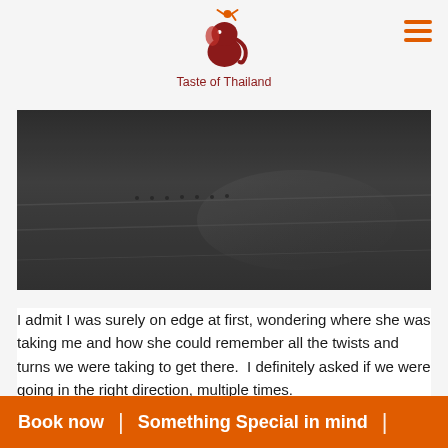Taste of Thailand
[Figure (photo): Dark, dimly lit stone or concrete surface with lines and small holes visible — appears to be an aged floor or pavement photographed at night or in low light conditions.]
I admit I was surely on edge at first, wondering where she was taking me and how she could remember all the twists and turns we were taking to get there.  I definitely asked if we were going in the right direction, multiple times.
Book now | Something Special in mind |